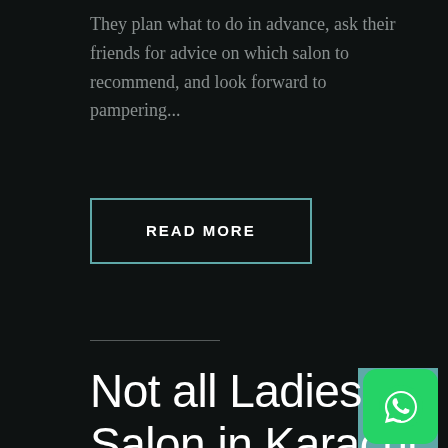They plan what to do in advance, ask their friends for advice on which salon to recommend, and look forward to pampering...
READ MORE
Not all Ladies Salon in Karachi are made the